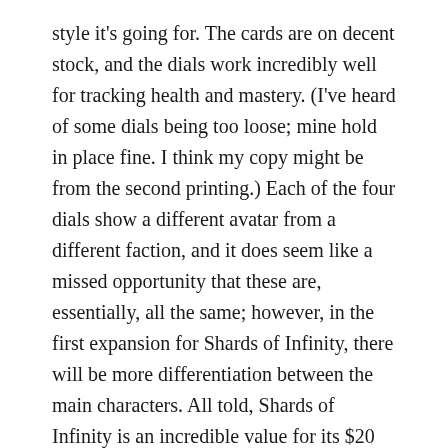style it's going for. The cards are on decent stock, and the dials work incredibly well for tracking health and mastery. (I've heard of some dials being too loose; mine hold in place fine. I think my copy might be from the second printing.) Each of the four dials show a different avatar from a different faction, and it does seem like a missed opportunity that these are, essentially, all the same; however, in the first expansion for Shards of Infinity, there will be more differentiation between the main characters. All told, Shards of Infinity is an incredible value for its $20 asking price, and even if it needs expansions to stay fresh, you will likely have gotten your money's worth before that time comes.
Shards of Infinity has benefited from years of [Acquisition iterations and it has been shaped with...]